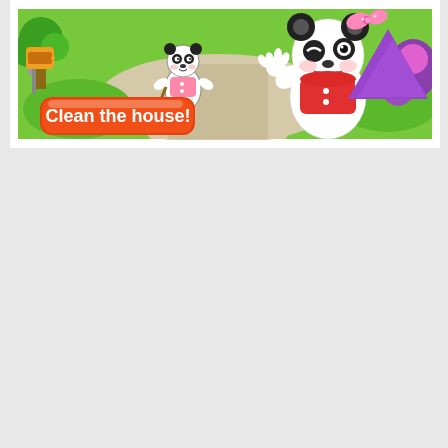[Figure (illustration): A children's app screenshot showing two cartoon panda characters in a garden setting. One panda is sweeping leaves with a broom on a path, and a larger panda character with a pink bow is winking and smiling. There is an orange mailbox on the left. An orange rounded button reads 'Clean the house!' in white bold text. The background features green grass, trees, and a light-colored walkway path.]